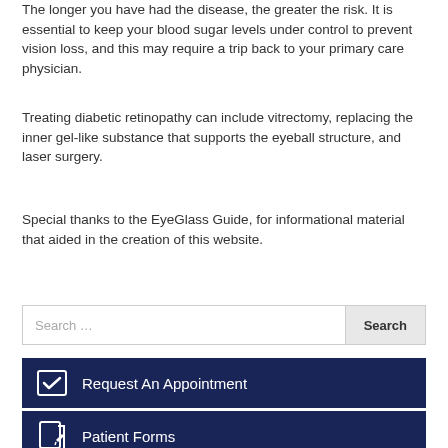The longer you have had the disease, the greater the risk. It is essential to keep your blood sugar levels under control to prevent vision loss, and this may require a trip back to your primary care physician.
Treating diabetic retinopathy can include vitrectomy, replacing the inner gel-like substance that supports the eyeball structure, and laser surgery.
Special thanks to the EyeGlass Guide, for informational material that aided in the creation of this website.
Search …
Request An Appointment
Patient Forms
Read Our Reviews